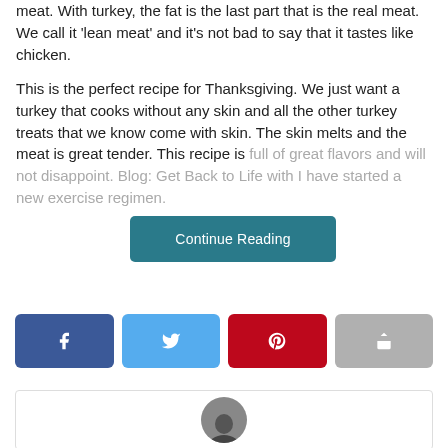meat. With turkey, the fat is the last part that is the real meat. We call it 'lean meat' and it's not bad to say that it tastes like chicken.
This is the perfect recipe for Thanksgiving. We just want a turkey that cooks without any skin and all the other turkey treats that we know come with skin. The skin melts and the meat is great tender. This recipe is full of great flavors and will not disappoint. Blog: Get Back to Life with [Continue Reading button overlay] I have started a new exercise regimen.
[Figure (other): Social share buttons: Facebook (blue), Twitter (light blue), Pinterest (red), Share/forward (gray)]
[Figure (photo): Profile card with circular avatar photo at the bottom of the page]